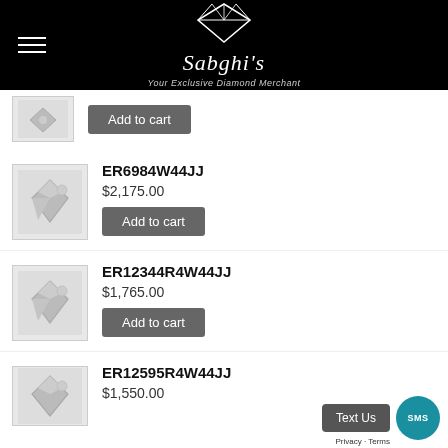Sabghi's - Your Exclusive Diamond Merchant
[Figure (other): Placeholder product image (top, partially visible)]
Add to cart (first product)
ER6984W44JJ
$2,175.00
[Figure (other): Placeholder product image for ER6984W44JJ]
Add to cart
ER12344R4W44JJ
$1,765.00
[Figure (other): Placeholder product image for ER12344R4W44JJ]
Add to cart
ER12595R4W44JJ
$1,550.00